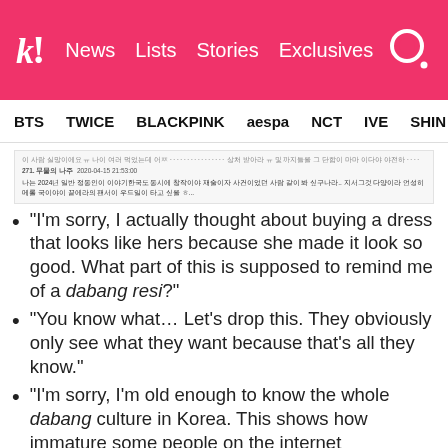k! News Lists Stories Exclusives
BTS TWICE BLACKPINK aespa NCT IVE SHIN
Korean comment text (small, partially legible Korean UI)
“I’m sorry, I actually thought about buying a dress that looks like hers because she made it look so good. What part of this is supposed to remind me of a dabang resi?”
“You know what… Let’s drop this. They obviously only see what they want because that’s all they know.”
“I’m sorry, I’m old enough to know the whole dabang culture in Korea. This shows how immature some people on the internet